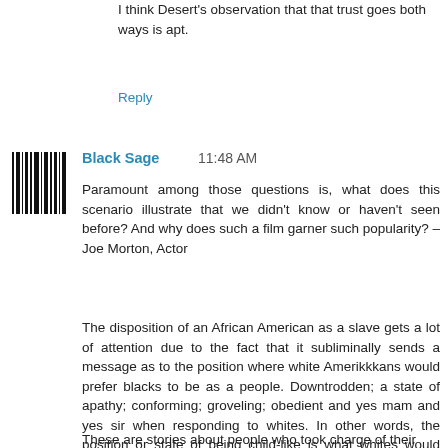I think Desert's observation that that trust goes both ways is apt.
Reply
[Figure (other): User avatar barcode-style image for Black Sage]
Black Sage  11:48 AM
Paramount among those questions is, what does this scenario illustrate that we didn't know or haven't seen before? And why does such a film garner such popularity? – Joe Morton, Actor
The disposition of an African American as a slave gets a lot of attention due to the fact that it subliminally sends a message as to the position where white Amerikkkans would prefer blacks to be as a people. Downtrodden; a state of apathy; conforming; groveling; obedient and yes mam and yes sir when responding to whites. In other words, the position or state of being child-like is what whites would rather deal with than as parallel men carrying equal political, social and economic authority.
These are stories about people who took charge of their